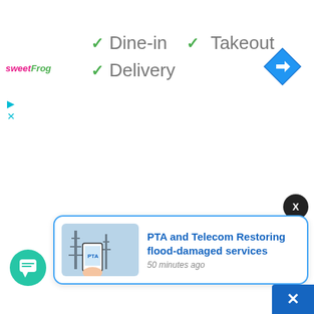[Figure (logo): sweetFrog logo — 'sweet' in pink italic, 'Frog' in green italic]
✓ Dine-in
✓ Takeout
✓ Delivery
[Figure (other): Blue diamond-shaped navigation/directions button with right-turn arrow]
[Figure (other): Collapse up-arrow tab button]
[Figure (other): Black circle close (X) button]
[Figure (photo): Photo of person holding phone with PTA logo, with telecom towers in background]
PTA and Telecom Restoring flood-damaged services
50 minutes ago
[Figure (other): Teal chat/message bubble button]
[Figure (other): Blue strip with white X icon in bottom-right corner]